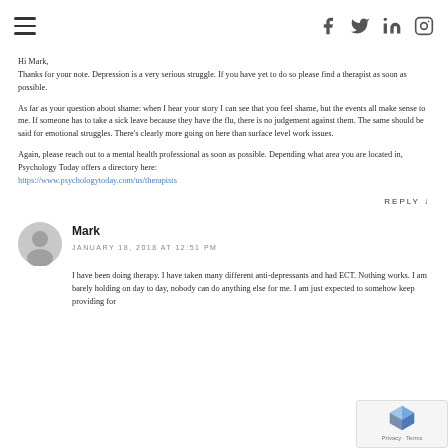Navigation menu and social icons (Facebook, Twitter, LinkedIn, Instagram)
Hi Mark,
Thanks for your note. Depression is a very serious struggle. If you have yet to do so please find a therapist as soon as possible.
As far as your question about shame: when I hear your story I can see that you feel shame, but the events all make sense to me. If someone has to take a sick leave because they have the flu, there is no judgement against them. The same should be said for emotional struggles. There's clearly more going on here than surface level work issues.
Again, please reach out to a mental health professional as soon as possible. Depending what area you are located in, Psychology Today offers a directory here:
https://www.psychologytoday.com/us/therapists
REPLY ↓
Mark
JANUARY 18, 2018 AT 12:51 PM
I have been doing therapy. I have taken many different anti-depressants and had ECT. Nothing works. I am barely holding on day to day, nobody can do anything else for me. I am just expected to somehow keep providing for